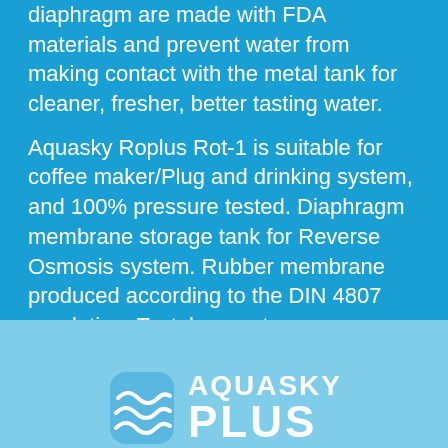diaphragm are made with FDA materials and prevent water from making contact with the metal tank for cleaner, fresher, better tasting water.
Aquasky Roplus Rot-1 is suitable for coffee maker/Plug and drinking system, and 100% pressure tested. Diaphragm membrane storage tank for Reverse Osmosis system. Rubber membrane produced according to the DIN 4807 regulation. Tasteless water zoon, none rubber smell or plastic smell.  ROT Certification: CE, ISO9001, NSF58
[Figure (logo): Aquasky Plus logo with wave icon and bold text AQUASKY PLUS in white on light blue background]